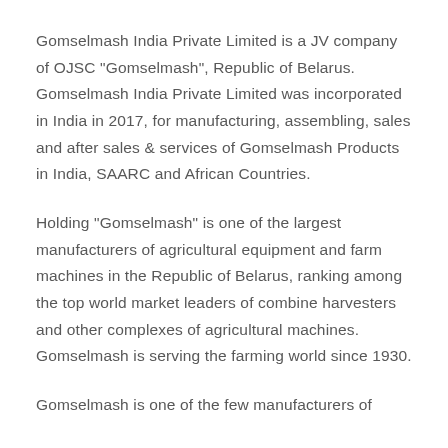Gomselmash India Private Limited is a JV company of OJSC "Gomselmash", Republic of Belarus. Gomselmash India Private Limited was incorporated in India in 2017, for manufacturing, assembling, sales and after sales & services of Gomselmash Products in India, SAARC and African Countries.
Holding "Gomselmash" is one of the largest manufacturers of agricultural equipment and farm machines in the Republic of Belarus, ranking among the top world market leaders of combine harvesters and other complexes of agricultural machines. Gomselmash is serving the farming world since 1930.
Gomselmash is one of the few manufacturers of